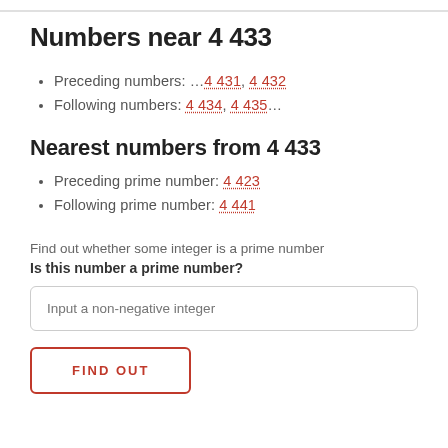Numbers near 4 433
Preceding numbers: …4 431, 4 432
Following numbers: 4 434, 4 435…
Nearest numbers from 4 433
Preceding prime number: 4 423
Following prime number: 4 441
Find out whether some integer is a prime number
Is this number a prime number?
Input a non-negative integer
FIND OUT